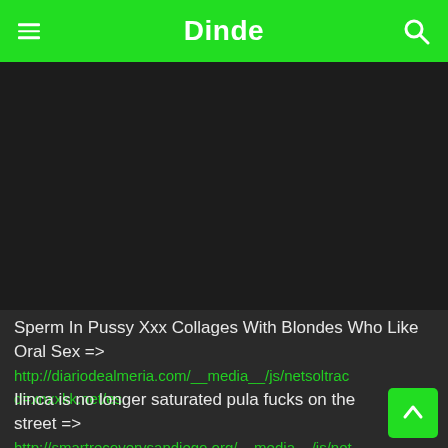Dinde
[Figure (other): Dark video player area, mostly black/dark gray background]
Sperm In Pussy Xxx Collages With Blondes Who Like Oral Sex => http://diariodealmeria.com/__media__/js/netsoltrac d=xnxxkk.net/es
Ilinca is no longer saturated pula fucks on the street => http://smartrecoverysandiego.org/__media__/js/net d=xnxxkk.net/pt/video/2148